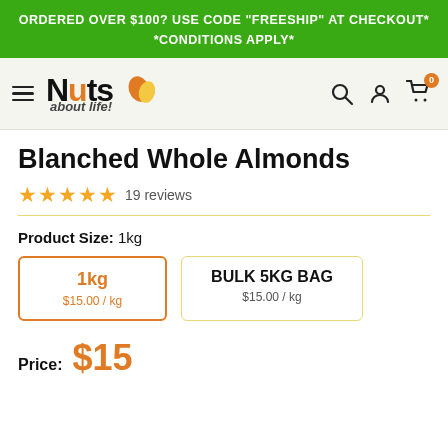ORDERED OVER $100? USE CODE "FREESHIP" AT CHECKOUT*
*CONDITIONS APPLY*
[Figure (logo): Nuts about life! logo with hamburger menu and nav icons (search, account, cart with 0 badge)]
Blanched Whole Almonds
19 reviews
Product Size: 1kg
1kg
$15.00 / kg
BULK 5KG BAG
$15.00 / kg
Price: $15